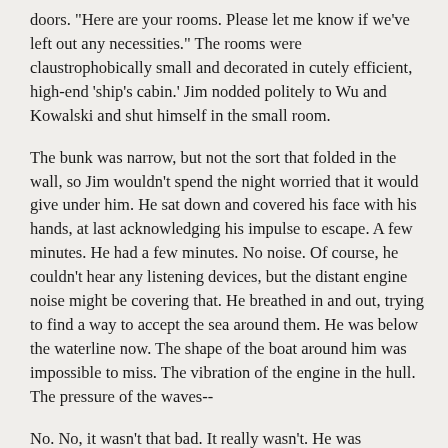doors. "Here are your rooms. Please let me know if we've left out any necessities." The rooms were claustrophobically small and decorated in cutely efficient, high-end 'ship's cabin.' Jim nodded politely to Wu and Kowalski and shut himself in the small room.
The bunk was narrow, but not the sort that folded in the wall, so Jim wouldn't spend the night worried that it would give under him. He sat down and covered his face with his hands, at last acknowledging his impulse to escape. A few minutes. He had a few minutes. No noise. Of course, he couldn't hear any listening devices, but the distant engine noise might be covering that. He breathed in and out, trying to find a way to accept the sea around them. He was below the waterline now. The shape of the boat around him was impossible to miss. The vibration of the engine in the hull. The pressure of the waves--
No. No, it wasn't that bad. It really wasn't. He was expecting it to be bad, because he had a *thing* about water and Blair wasn't here and there'd been no time to prepare. But they just weren't that far from land. The ocean here wasn't really very deep. The boat wasn't